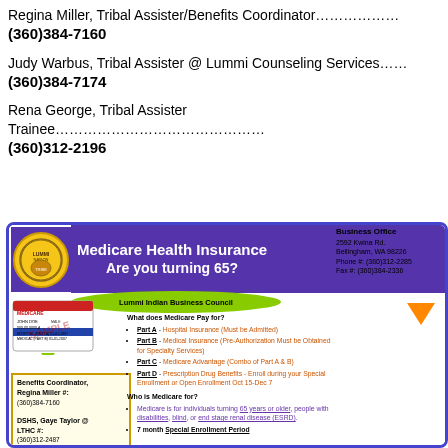Regina Miller, Tribal Assister/Benefits Coordinator.............. (360)384-7160
Judy Warbus, Tribal Assister @ Lummi Counseling Services.... (360)384-7174
Rena George, Tribal Assister Trainee........................................... (360)312-2196
[Figure (infographic): Medicare Health Insurance flyer from Lummi Indian Business Council. Shows Medicare card sample, contact info for Benefits Coordinator Regina Miller (360)384-7160, DSHS Gaye Taylor at LTHC (360)312-2487, Social Security Office. Business Office at 2592 Kwina Rd, Bellingham WA 98226, Phone (360)312-2285, Fax (360)384-2336. Lists Medicare parts A, B, C, D and eligibility info.]